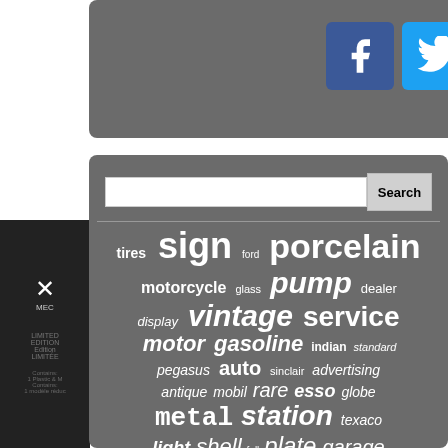[Figure (screenshot): Social media share buttons: Facebook (blue), Twitter (light blue), Pinterest (red), Email (grey)]
[Figure (screenshot): Tag cloud / word cloud on grey background with keywords: sign, porcelain, tires, ford, motorcycle, glass, pump, dealer, display, vintage, service, motor, gasoline, indian, standard, pegasus, auto, sinclair, advertising, antique, mobil, rare, esso, globe, metal, station, texaco, light, shell, full, plate, garage, automobile, original, gulf]